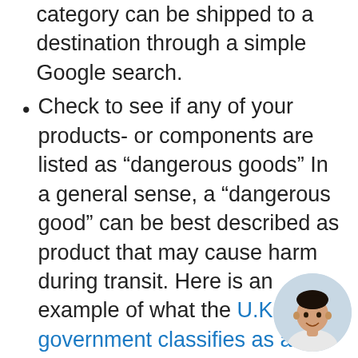category can be shipped to a destination through a simple Google search.
Check to see if any of your products- or components are listed as “dangerous goods” In a general sense, a “dangerous good” can be best described as product that may cause harm during transit. Here is an example of what the U.K government classifies as a dangerous good.
Taxes, Duties and De Minimises
When exporting product overseas you may incur taxes and duties when the product arrives into the country of